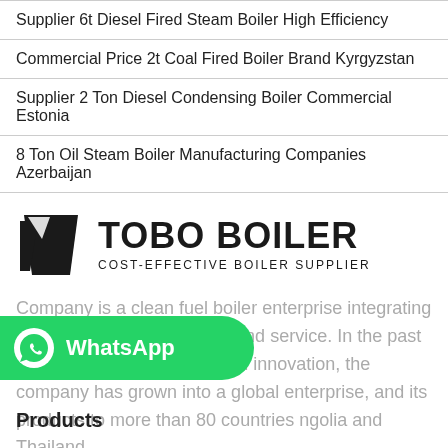Supplier 6t Diesel Fired Steam Boiler High Efficiency
Commercial Price 2t Coal Fired Boiler Brand Kyrgyzstan
Supplier 2 Ton Diesel Condensing Boiler Commercial Estonia
8 Ton Oil Steam Boiler Manufacturing Companies Azerbaijan
[Figure (logo): TOBO BOILER logo with dark trapezoidal icon and text 'TOBO BOILER / COST-EFFECTIVE BOILER SUPPLIER']
Company is a clean fuel boiler enterprise integrating R&D, manufacturing, sales and service. In the past 20 years of development and innovation, the company has grown into a global enterprise, and its products to more than 80 countries ngolia and Thailand.
[Figure (logo): WhatsApp button overlay with phone icon and text 'WhatsApp' on green rounded bar]
Products